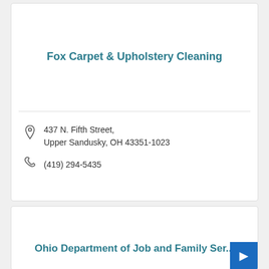Fox Carpet & Upholstery Cleaning
437 N. Fifth Street, Upper Sandusky, OH 43351-1023
(419) 294-5435
Ohio Department of Job and Family Ser...